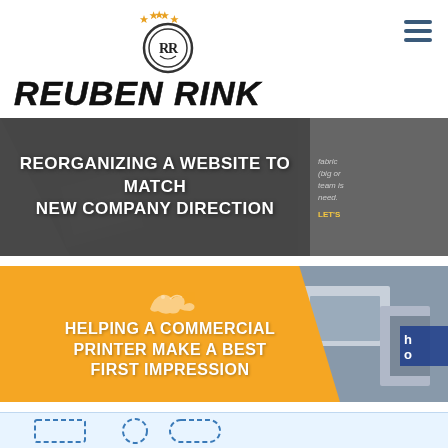[Figure (logo): Reuben Rink logo with circular emblem showing RR monogram surrounded by orange stars, and bold stylized text 'REUBEN RINK' below]
[Figure (screenshot): Dark gray banner card with text 'REORGANIZING A WEBSITE TO MATCH NEW COMPANY DIRECTION' in white bold uppercase, with partial text visible on right side]
[Figure (screenshot): Orange and photo card with text 'HELPING A COMMERCIAL PRINTER MAKE A BEST FIRST IMPRESSION' in white bold uppercase, with kangaroo silhouette and photo of printed materials on right]
[Figure (screenshot): Light blue partial card at bottom with dashed wireframe icons visible]